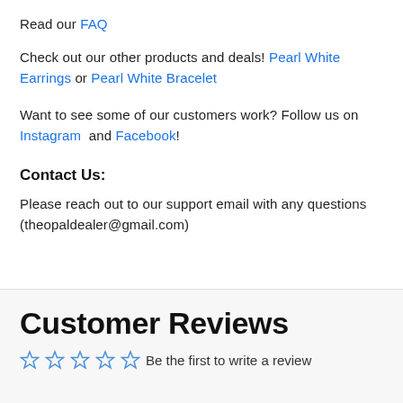Read our FAQ
Check out our other products and deals! Pearl White Earrings or Pearl White Bracelet
Want to see some of our customers work? Follow us on Instagram and Facebook!
Contact Us:
Please reach out to our support email with any questions (theopaldealer@gmail.com)
Customer Reviews
Be the first to write a review